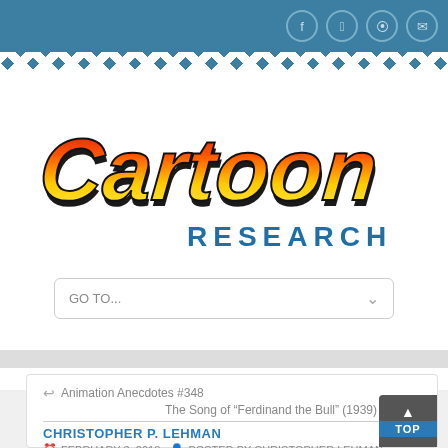[Figure (logo): Cartoon Research logo with colorful gradient script text and blue sans-serif RESEARCH text below]
GO TO...
Animation Anecdotes #348
The Song of “Ferdinand the Bull” (1939)
CHRISTOPHER P. LEHMAN
FEBRUARY 3, 2018   POSTED BY CHRISTOPHER LEHMAN